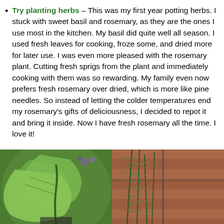Try planting herbs – This was my first year potting herbs. I stuck with sweet basil and rosemary, as they are the ones I use most in the kitchen. My basil did quite well all season. I used fresh leaves for cooking, froze some, and dried more for later use. I was even more pleased with the rosemary plant. Cutting fresh sprigs from the plant and immediately cooking with them was so rewarding. My family even now prefers fresh rosemary over dried, which is more like pine needles. So instead of letting the colder temperatures end my rosemary's gifts of deliciousness, I decided to repot it and bring it inside. Now I have fresh rosemary all the time. I love it!
[Figure (photo): Photo of a lush green basil plant with large broad leaves growing in a pot]
[Figure (photo): Photo of a tall rosemary plant with needle-like foliage growing against a brick wall]